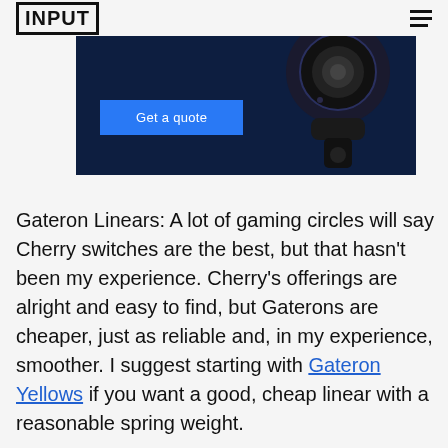INPUT
[Figure (screenshot): Dark blue banner ad with a security camera image on the right and a 'Get a quote' blue button on the left]
Gateron Linears: A lot of gaming circles will say Cherry switches are the best, but that hasn't been my experience. Cherry's offerings are alright and easy to find, but Gaterons are cheaper, just as reliable and, in my experience, smoother. I suggest starting with Gateron Yellows if you want a good, cheap linear with a reasonable spring weight.